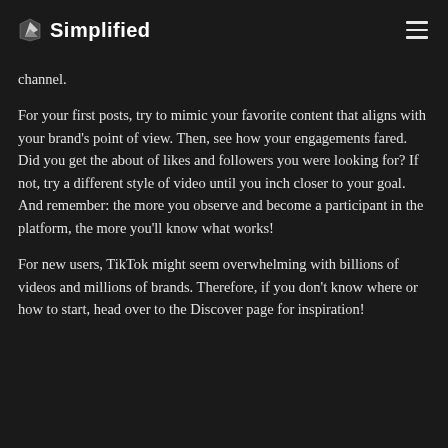Simplified
channel.
For your first posts, try to mimic your favorite content that aligns with your brand's point of view. Then, see how your engagements fared. Did you get the about of likes and followers you were looking for? If not, try a different style of video until you inch closer to your goal. And remember: the more you observe and become a participant in the platform, the more you'll know what works!
For new users, TikTok might seem overwhelming with billions of videos and millions of brands. Therefore, if you don't know where or how to start, head over to the Discover page for inspiration!